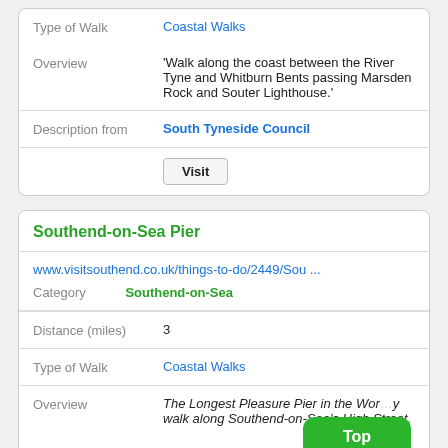| Type of Walk | Coastal Walks |
| Overview | 'Walk along the coast between the River Tyne and Whitburn Bents passing Marsden Rock and Souter Lighthouse.' |
| Description from | South Tyneside Council |
|  | Visit |
Southend-on-Sea Pier
| www.visitsouthend.co.uk/things-to-do/2449/Sou ... |  |
| Category | Southend-on-Sea |
| Distance (miles) | 3 |
| Type of Walk | Coastal Walks |
| Overview | The Longest Pleasure Pier in the Wor... walk along Southend-on-Sea's High Street, |